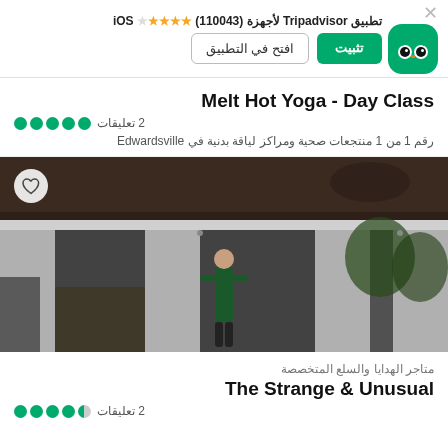تطبيق Tripadvisor لأجهزة (110043) ★★★★☆ iOS — تثبيت — افتح في التطبيق
Melt Hot Yoga - Day Class
●●●●● 2 تعليقات
رقم 1 من 1 منتجعات صحية ومراكز لياقة بدنية في Edwardsville
[Figure (photo): Exterior photo of a building with brick facade, dark roof, and large windows. A person stands in front. A heart/like button is visible in the top left corner.]
متاجر الهدايا والسلع المتخصصة
The Strange & Unusual
◐●●●● 2 تعليقات